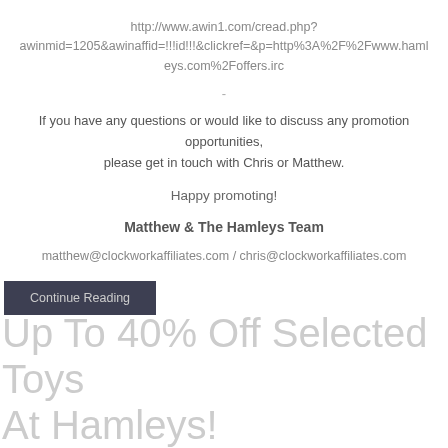http://www.awin1.com/cread.php?awinmid=1205&awinaffid=!!!id!!!&clickref=&p=http%3A%2F%2Fwww.hamleys.com%2Foffers.irc
-
If you have any questions or would like to discuss any promotion opportunities, please get in touch with Chris or Matthew.
Happy promoting!
Matthew & The Hamleys Team
matthew@clockworkaffiliates.com / chris@clockworkaffiliates.com
Continue Reading
Up To 40% Off Selected Toys At Hamleys!